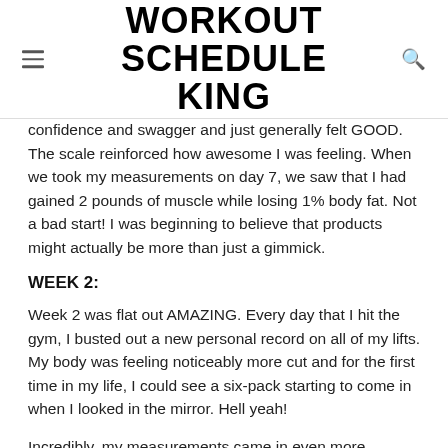WORKOUT SCHEDULE KING
confidence and swagger and just generally felt GOOD. The scale reinforced how awesome I was feeling. When we took my measurements on day 7, we saw that I had gained 2 pounds of muscle while losing 1% body fat. Not a bad start! I was beginning to believe that products might actually be more than just a gimmick.
WEEK 2:
Week 2 was flat out AMAZING. Every day that I hit the gym, I busted out a new personal record on all of my lifts. My body was feeling noticeably more cut and for the first time in my life, I could see a six-pack starting to come in when I looked in the mirror. Hell yeah!
Incredibly, my measurements came in even more outstanding